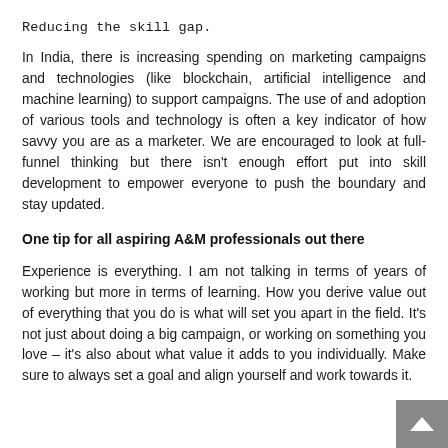Reducing the skill gap.
In India, there is increasing spending on marketing campaigns and technologies (like blockchain, artificial intelligence and machine learning) to support campaigns. The use of and adoption of various tools and technology is often a key indicator of how savvy you are as a marketer. We are encouraged to look at full-funnel thinking but there isn't enough effort put into skill development to empower everyone to push the boundary and stay updated.
One tip for all aspiring A&M professionals out there
Experience is everything. I am not talking in terms of years of working but more in terms of learning. How you derive value out of everything that you do is what will set you apart in the field. It's not just about doing a big campaign, or working on something you love – it's also about what value it adds to you individually. Make sure to always set a goal and align yourself and work towards it.